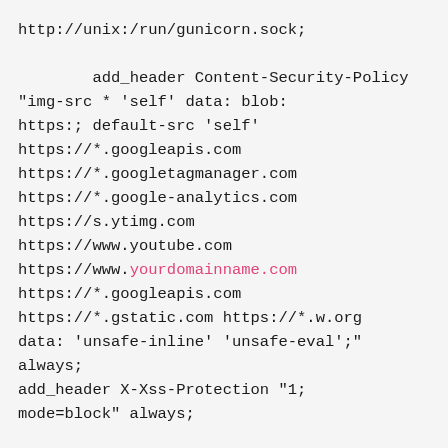http://unix:/run/gunicorn.sock;

        add_header Content-Security-Policy "img-src * 'self' data: blob: https:; default-src 'self' https://*.googleapis.com https://*.googletagmanager.com https://*.google-analytics.com https://s.ytimg.com https://www.youtube.com https://www.yourdomainname.com https://*.googleapis.com https://*.gstatic.com https://*.w.org data: 'unsafe-inline' 'unsafe-eval';" always;
add_header X-Xss-Protection "1; mode=block" always;